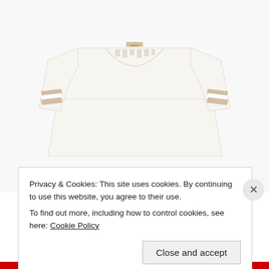[Figure (photo): White short-sleeve v-neck t-shirt with two tan/beige horizontal stripes on each sleeve, displayed against a white background. A small brand label is visible at the back neckline.]
Privacy & Cookies: This site uses cookies. By continuing to use this website, you agree to their use.
To find out more, including how to control cookies, see here: Cookie Policy
Close and accept